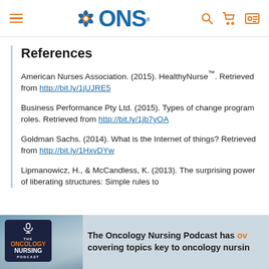ONS (Oncology Nursing Society) website header with navigation menu, logo, search, cart, and account icons
References
American Nurses Association. (2015). HealthyNurse™. Retrieved from http://bit.ly/1jUJRE5
Business Performance Pty Ltd. (2015). Types of change program roles. Retrieved from http://bit.ly/1jb7yOA
Goldman Sachs. (2014). What is the Internet of things? Retrieved from http://bit.ly/1HxvDYw
Lipmanowicz, H., & McCandless, K. (2013). The surprising power of liberating structures: Simple rules to
[Figure (photo): Bottom banner showing The Oncology Nursing Podcast logo on dark background with blurred hand holding phone, and text 'The Oncology Nursing Podcast has ov... covering topics key to oncology nursin...']